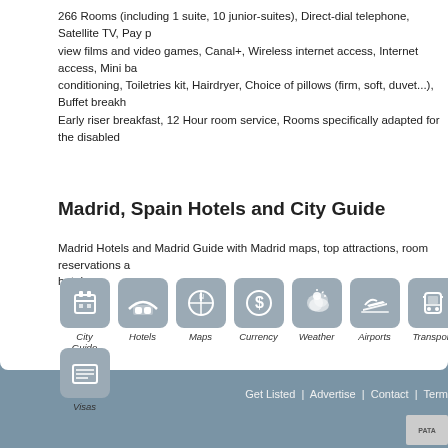266 Rooms (including 1 suite, 10 junior-suites), Direct-dial telephone, Satellite TV, Pay per view films and video games, Canal+, Wireless internet access, Internet access, Mini bar, Air conditioning, Toiletries kit, Hairdryer, Choice of pillows (firm, soft, duvet...), Buffet breakfast, Early riser breakfast, 12 Hour room service, Rooms specifically adapted for the disabled
Madrid, Spain Hotels and City Guide
Madrid Hotels and Madrid Guide with Madrid maps, top attractions, room reservations and hotels
[Figure (infographic): Row of category icons: City Guide, Hotels, Maps, Currency, Weather, Airports, Transport, and a partially visible icon; second row with Visas icon]
Get Listed | Advertise | Contact | Terms